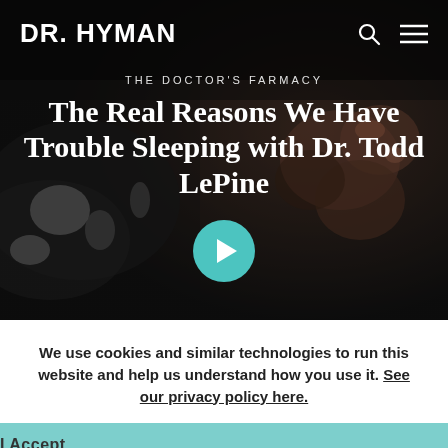DR. HYMAN
[Figure (photo): Dark moody background photo of a person lying down with hands visible, monochrome/dark tones suggesting sleep or rest]
THE DOCTOR'S FARMACY
The Real Reasons We Have Trouble Sleeping with Dr. Todd LePine
We use cookies and similar technologies to run this website and help us understand how you use it. See our privacy policy here.
I Accept